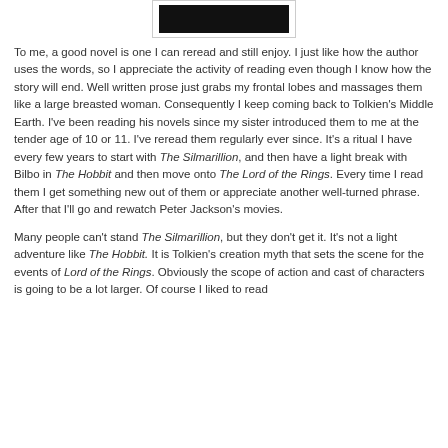[Figure (photo): Dark rectangular image, likely a book cover or banner, centered at top of page]
To me, a good novel is one I can reread and still enjoy. I just like how the author uses the words, so I appreciate the activity of reading even though I know how the story will end. Well written prose just grabs my frontal lobes and massages them like a large breasted woman. Consequently I keep coming back to Tolkien's Middle Earth. I've been reading his novels since my sister introduced them to me at the tender age of 10 or 11. I've reread them regularly ever since. It's a ritual I have every few years to start with The Silmarillion, and then have a light break with Bilbo in The Hobbit and then move onto The Lord of the Rings. Every time I read them I get something new out of them or appreciate another well-turned phrase. After that I'll go and rewatch Peter Jackson's movies.
Many people can't stand The Silmarillion, but they don't get it. It's not a light adventure like The Hobbit. It is Tolkien's creation myth that sets the scene for the events of Lord of the Rings. Obviously the scope of action and cast of characters is going to be a lot larger. Of course I liked to read